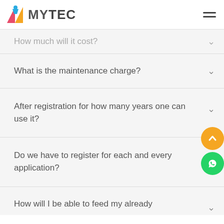MYTEC
How much will it cost?
What is the maintenance charge?
After registration for how many years one can use it?
Do we have to register for each and every application?
How will I be able to feed my already